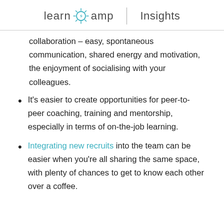learn amp | Insights
collaboration - easy, spontaneous communication, shared energy and motivation, the enjoyment of socialising with your colleagues.
It's easier to create opportunities for peer-to-peer coaching, training and mentorship, especially in terms of on-the-job learning.
Integrating new recruits into the team can be easier when you're all sharing the same space, with plenty of chances to get to know each other over a coffee.